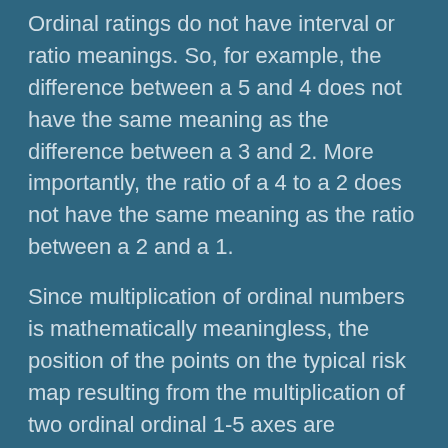Ordinal ratings do not have interval or ratio meanings. So, for example, the difference between a 5 and 4 does not have the same meaning as the difference between a 3 and 2. More importantly, the ratio of a 4 to a 2 does not have the same meaning as the ratio between a 2 and a 1.
Since multiplication of ordinal numbers is mathematically meaningless, the position of the points on the typical risk map resulting from the multiplication of two ordinal ordinal 1-5 axes are meaningless. This is reflected in the